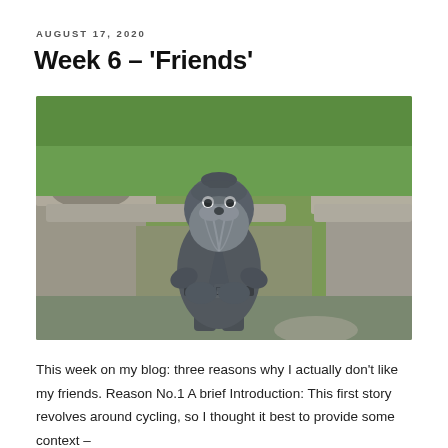AUGUST 17, 2020
Week 6 – ‘Friends’
[Figure (photo): A grey garden gnome statue standing outdoors in front of a stone garden table/bench set on a green grass lawn. The gnome has a long beard, a belted coat, and is looking upward slightly.]
This week on my blog: three reasons why I actually don’t like my friends. Reason No.1 A brief Introduction: This first story revolves around cycling, so I thought it best to provide some context –